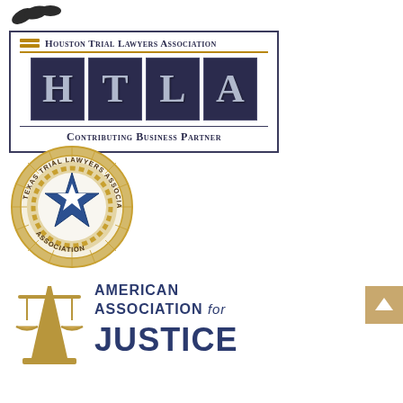[Figure (logo): Houston Trial Lawyers Association (HTLA) - Contributing Business Partner logo with dark navy blue squares containing letters H, T, L, A]
[Figure (logo): Texas Trial Lawyers Association (TTLA) circular seal with star in center]
[Figure (logo): American Association for Justice logo with gold scales of justice and dark blue text]
[Figure (other): Scroll-to-top navigation button with upward arrow on tan/gold background]